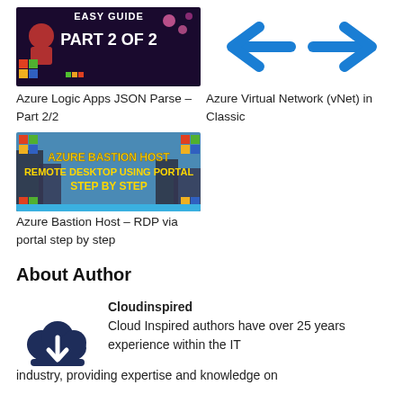[Figure (photo): Azure Logic Apps JSON Parse Part 2 of 2 thumbnail with colorful digital background]
[Figure (photo): Azure Virtual Network vNet in Classic - blue arrow icons on white background]
Azure Logic Apps JSON Parse – Part 2/2
Azure Virtual Network (vNet) in Classic
[Figure (photo): Azure Bastion Host Remote Desktop Using Portal Step by Step thumbnail with building and colorful Microsoft logo blocks]
Azure Bastion Host – RDP via portal step by step
About Author
[Figure (illustration): Dark blue cloud icon with download arrow]
Cloudinspired
Cloud Inspired authors have over 25 years experience within the IT industry, providing expertise and knowledge on